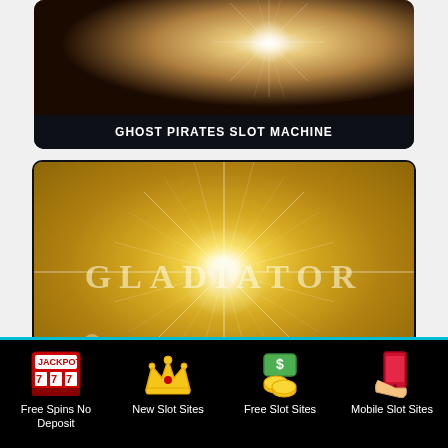[Figure (screenshot): Ghost Pirates slot machine promotional image with gold starburst light effect on dark background]
GHOST PIRATES SLOT MACHINE
[Figure (screenshot): Gladiator slot machine promotional image with bright starburst light effect on golden background, text reading GLADIATOR]
Free Spins No Deposit | New Slot Sites | Free Slot Sites | Mobile Slot Sites